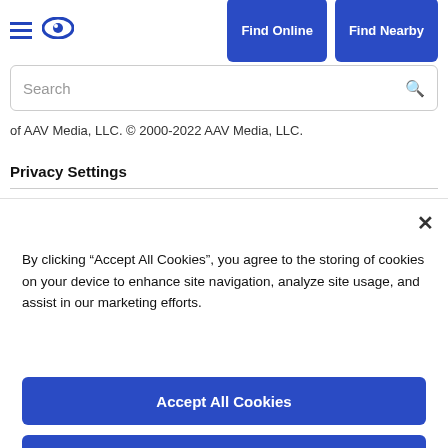Find Online   Find Nearby
[Figure (screenshot): Search bar with placeholder text 'Search' and magnifying glass icon]
of AAV Media, LLC. © 2000-2022 AAV Media, LLC.
Privacy Settings
By clicking “Accept All Cookies”, you agree to the storing of cookies on your device to enhance site navigation, analyze site usage, and assist in our marketing efforts.
Accept All Cookies
Reject All
Cookies Settings